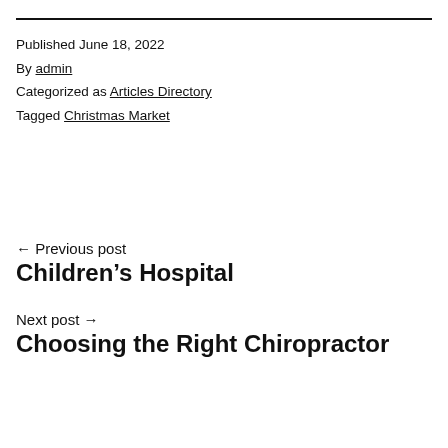Published June 18, 2022
By admin
Categorized as Articles Directory
Tagged Christmas Market
← Previous post
Children's Hospital
Next post →
Choosing the Right Chiropractor